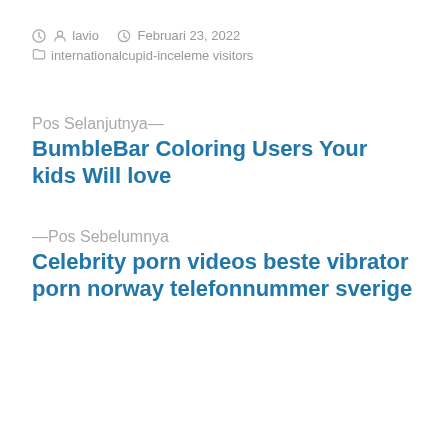lavio  Februari 23, 2022  internationalcupid-inceleme visitors
Pos Selanjutnya—
BumbleBar Coloring Users Your kids Will love
—Pos Sebelumnya
Celebrity porn videos beste vibrator porn norway telefonnummer sverige